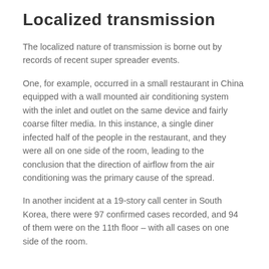Localized transmission
The localized nature of transmission is borne out by records of recent super spreader events.
One, for example, occurred in a small restaurant in China equipped with a wall mounted air conditioning system with the inlet and outlet on the same device and fairly coarse filter media. In this instance, a single diner infected half of the people in the restaurant, and they were all on one side of the room, leading to the conclusion that the direction of airflow from the air conditioning was the primary cause of the spread.
In another incident at a 19-story call center in South Korea, there were 97 confirmed cases recorded, and 94 of them were on the 11th floor – with all cases on one side of the room.